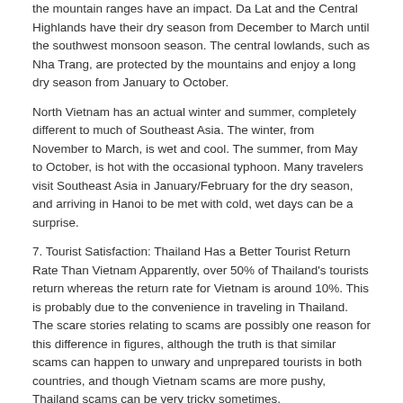the mountain ranges have an impact. Da Lat and the Central Highlands have their dry season from December to March until the southwest monsoon season. The central lowlands, such as Nha Trang, are protected by the mountains and enjoy a long dry season from January to October.
North Vietnam has an actual winter and summer, completely different to much of Southeast Asia. The winter, from November to March, is wet and cool. The summer, from May to October, is hot with the occasional typhoon. Many travelers visit Southeast Asia in January/February for the dry season, and arriving in Hanoi to be met with cold, wet days can be a surprise.
7. Tourist Satisfaction: Thailand Has a Better Tourist Return Rate Than Vietnam Apparently, over 50% of Thailand's tourists return whereas the return rate for Vietnam is around 10%. This is probably due to the convenience in traveling in Thailand. The scare stories relating to scams are possibly one reason for this difference in figures, although the truth is that similar scams can happen to unwary and unprepared tourists in both countries, and though Vietnam scams are more pushy, Thailand scams can be very tricky sometimes.
8. Tourist Traps & Scams: Thailand Traps are More Tricky Though most local people are exceptionally friendly and helpful, tourist traps and scams come in various forms. Some are straightforward fraudulent charges, while others may be connected thailand versus vietnam porn deals.
The following will highlight some common traps for you to avoid when traveling. Vietnam – some cheating and inconvenient at New Year Cheating in the shops can be one of the most annoying problems for travelers to Vietnam. Shops may attract customers by advertising lower prices, but the price may increase at any time and you may end up pulling out more money than what was originally asked for.
Continue to read Vietnam Tourist Traps and Scams. In addition, cheating may even happen as you change money. Since the denominations of dong are